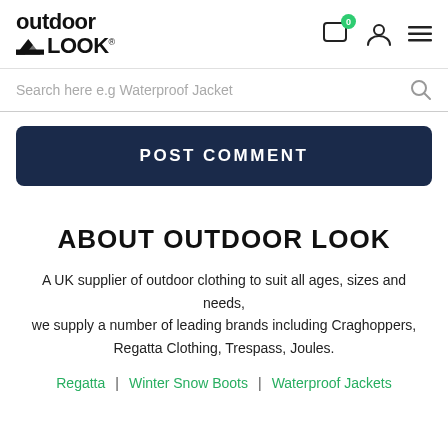[Figure (logo): Outdoor Look logo with mountain graphic]
Search here e.g Waterproof Jacket
POST COMMENT
ABOUT OUTDOOR LOOK
A UK supplier of outdoor clothing to suit all ages, sizes and needs, we supply a number of leading brands including Craghoppers, Regatta Clothing, Trespass, Joules.
Regatta | Winter Snow Boots | Waterproof Jackets